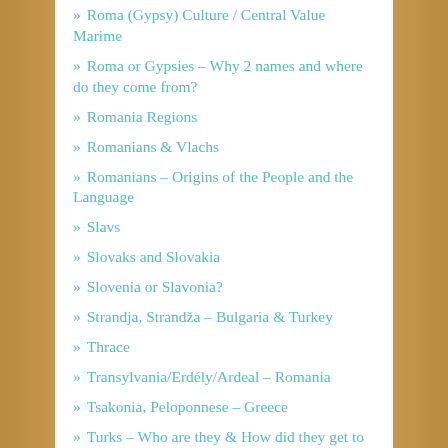Roma (Gypsy) Culture / Central Value Marime
Roma or Gypsies – Why 2 names and where do they come from?
Romania Regions
Romanians & Vlachs
Romanians – Origins of the People and the Language
Slavs
Slovaks and Slovakia
Slovenia or Slavonia?
Strandja, Strandža – Bulgaria & Turkey
Thrace
Transylvania/Erdély/Ardeal – Romania
Tsakonia, Peloponnese – Greece
Turks – Who are they & How did they get to Anatolia?